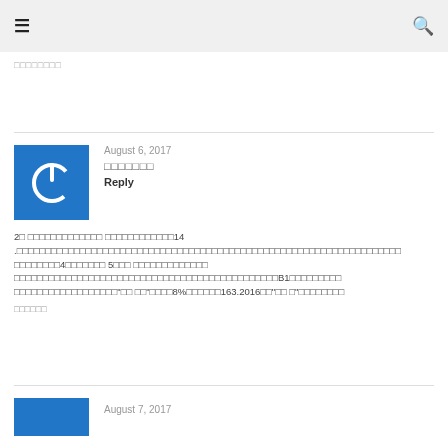≡   🔍
□□□□□□□□
August 6, 2017
□□□□□□□
Reply
2□ □□□□□□□□□□□□□ □□□□□□□□□□□□14 .□□□□□□□□□□□□□□□□□□□□□□□□□□□□□□□□□□□□□□□□□□□□□ □□□□□□□□4□□□□□□□ 5□□□ □□□□□□□□□□□□□ □□□□□□□□□□□□□□□□□□□□□□□□□□□□□□□□□□□□□□□□□□□□□□B1□□□□□□□□□ □□□□□□□□□□□□□□□□□□□"□□ □□"□□□□8%□□□□□□163.2016□□"□□ □"□□□□□□□□
□□□□□□
August 7, 2017